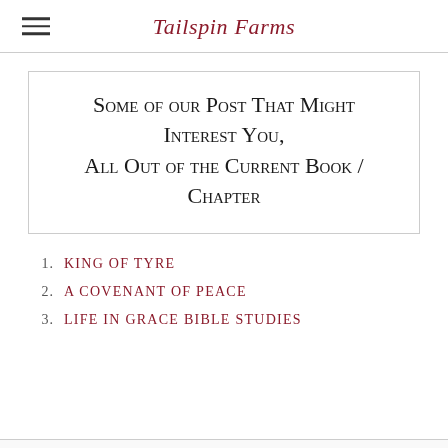Tailspin Farms
Some of our Post That Might Interest You, All Out of the Current Book / Chapter
KING OF TYRE
A COVENANT OF PEACE
LIFE IN GRACE BIBLE STUDIES